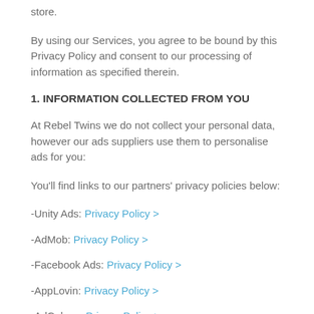store.
By using our Services, you agree to be bound by this Privacy Policy and consent to our processing of information as specified therein.
1. INFORMATION COLLECTED FROM YOU
At Rebel Twins we do not collect your personal data, however our ads suppliers use them to personalise ads for you:
You'll find links to our partners' privacy policies below:
-Unity Ads: Privacy Policy >
-AdMob: Privacy Policy >
-Facebook Ads: Privacy Policy >
-AppLovin: Privacy Policy >
-AdColony: Privacy Policy >